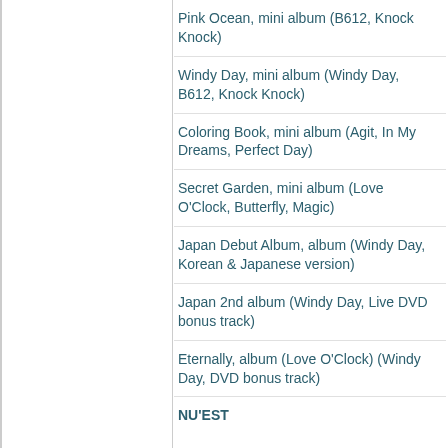Pink Ocean, mini album (B612, Knock Knock)
Windy Day, mini album (Windy Day, B612, Knock Knock)
Coloring Book, mini album (Agit, In My Dreams, Perfect Day)
Secret Garden, mini album (Love O'Clock, Butterfly, Magic)
Japan Debut Album, album (Windy Day, Korean & Japanese version)
Japan 2nd album (Windy Day, Live DVD bonus track)
Eternally, album (Love O'Clock) (Windy Day, DVD bonus track)
NU'EST